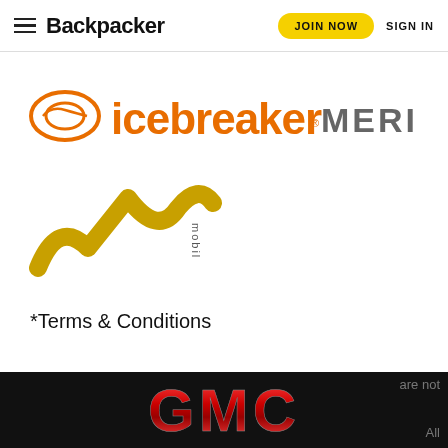Backpacker | JOIN NOW | SIGN IN
[Figure (logo): Icebreaker Merino logo in orange with oval icon]
[Figure (logo): LSN mobil logo in gold/yellow with stylized letters]
*Terms & Conditions
Prices are quoted in USD and are ‘from’, per person. Accommodation is twin share in Queenstown and Multi-share on the walk. Must be booked by January 6, 2015. Airlines frequently change their prices as a result of fare increases and/or fuel surcharges. Prices are current at time of posting (9/7/14) are not guarant... All
[Figure (logo): GMC logo in red metallic letters on black background banner]